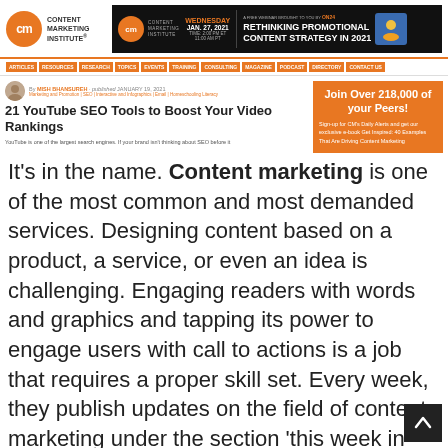Content Marketing Institute
[Figure (screenshot): Advertisement banner for Content Marketing Institute webinar: Wednesday Jan. 27, 2021 – Rethinking Promotional Content Strategy in 2021, presented by ON24]
ARTICLES | RESOURCES | RESEARCH | TOPICS | EVENTS | TRAINING | CONSULTING | MAGAZINE | PODCAST | DIRECTORY | CONTACT US
21 YouTube SEO Tools to Boost Your Video Rankings
By MISH BHANSUREH · published JANUARY 19, 2021
YouTube is one of the largest search engines. If your brand isn't thinking about SEO before it
[Figure (infographic): Join Over 218,000 of your Peers! Sign-up for CM's Daily Alerts and get our exclusive e-book Get Inspired: 40 Examples That Are Driving Content Marketing]
It's in the name. Content marketing is one of the most common and most demanded services. Designing content based on a product, a service, or even an idea is challenging. Engaging readers with words and graphics and tapping its power to engage users with call to actions is a job that requires a proper skill set. Every week, they publish updates on the field of content marketing under the section 'this week in content marketing'. They have many contributors or guest writers akin to some of the